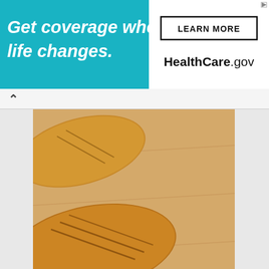[Figure (infographic): HealthCare.gov advertisement banner with teal background. Left side shows bold italic white text 'Get coverage when life changes.' Right white panel shows 'LEARN MORE' button and 'HealthCare.gov' branding.]
[Figure (photo): Photo of golden-brown baked pastries/stuffed breads with scored tops, arranged on a wooden cutting board.]
[Figure (photo): Photo of cinnamon rolls in a round aluminum foil pan on a wooden surface, frosted with white icing.]